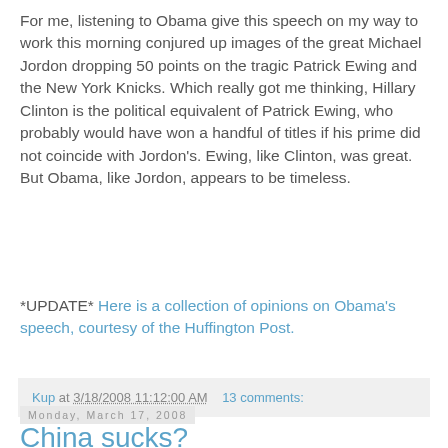For me, listening to Obama give this speech on my way to work this morning conjured up images of the great Michael Jordon dropping 50 points on the tragic Patrick Ewing and the New York Knicks. Which really got me thinking, Hillary Clinton is the political equivalent of Patrick Ewing, who probably would have won a handful of titles if his prime did not coincide with Jordon's. Ewing, like Clinton, was great. But Obama, like Jordon, appears to be timeless.
*UPDATE* Here is a collection of opinions on Obama's speech, courtesy of the Huffington Post.
Kup at 3/18/2008 11:12:00 AM    13 comments:
Monday, March 17, 2008
China sucks?